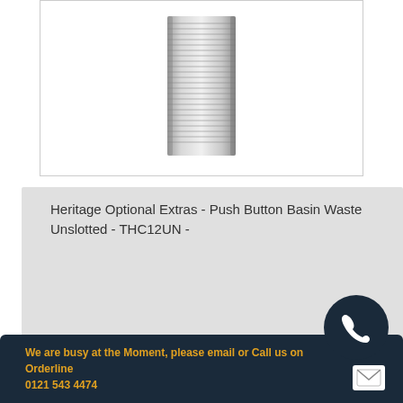[Figure (photo): Product photo of a threaded cylindrical metal push button basin waste component (THC12UN) on a white background]
Heritage Optional Extras - Push Button Basin Waste Unslotted - THC12UN -
We are busy at the Moment, please email or Call us on Orderline 0121 543 4474